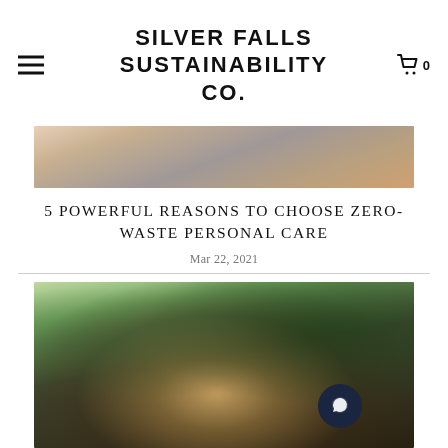SILVER FALLS SUSTAINABILITY CO.
[Figure (photo): Cropped photo showing people among flowers/plants, top portion of an article image]
5 POWERFUL REASONS TO CHOOSE ZERO-WASTE PERSONAL CARE
Mar 22, 2021
[Figure (photo): Photo of a woman with long wavy blonde hair seen from behind, surrounded by green foliage]